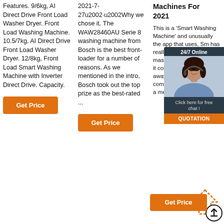Features. 9/6kg, AI Direct Drive Front Load Washer Dryer. Front Load Washing Machine. 10.5/7kg, AI Direct Drive Front Load Washer Dryer. 12/8kg, Front Load Smart Washing Machine with Inverter Direct Drive. Capacity.
Get Price
2021-7-27u2002·u2002Why we chose it. The WAW28460AU Serie 8 washing machine from Bosch is the best front-loader for a number of reasons. As we mentioned in the intro, Bosch took out the top prize as the best-rated ...
Get Price
Machines For 2021
This is a 'Smart Washing Machine' and unusually the app that uses, Sn has really reviews f users. Ar massive this quie washing it comes year war blows away most of the competition who only offer a measly 1-year warranty.
[Figure (photo): Chat widget overlay with 24/7 Online label, woman with headset photo, 'Click here for free chat!' text, and QUOTATION button]
Get Price